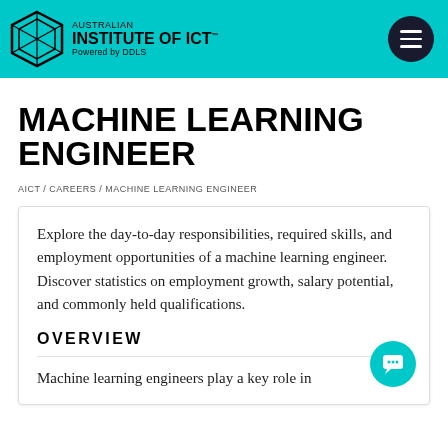AUSTRALIAN INSTITUTE OF ICT™ Powered by DDLS
MACHINE LEARNING ENGINEER
AICT / CAREERS / MACHINE LEARNING ENGINEER
Explore the day-to-day responsibilities, required skills, and employment opportunities of a machine learning engineer. Discover statistics on employment growth, salary potential, and commonly held qualifications.
OVERVIEW
Machine learning engineers play a key role in